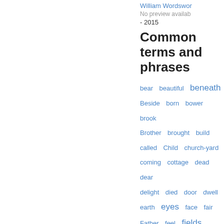William Wordsworth
No preview available
- 2015
Common terms and phrases
bear  beautiful  beneath  Beside  born  bower  brook  Brother  brought  build  called  Child  church-yard  coming  cottage  dead  dear  delight  died  door  dwell  earth  eyes  face  fair  Father  feel  fields  flowers  Friend  gone  grass  grave  green  half  hand  happy  head  hear  heard  heart  Heaven  hills